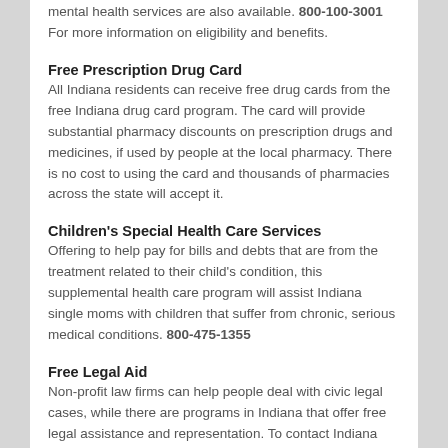mental health services are also available. 800-100-3001 For more information on eligibility and benefits.
Free Prescription Drug Card
All Indiana residents can receive free drug cards from the free Indiana drug card program. The card will provide substantial pharmacy discounts on prescription drugs and medicines, if used by people at the local pharmacy. There is no cost to using the card and thousands of pharmacies across the state will accept it.
Children's Special Health Care Services
Offering to help pay for bills and debts that are from the treatment related to their child's condition, this supplemental health care program will assist Indiana single moms with children that suffer from chronic, serious medical conditions. 800-475-1355
Free Legal Aid
Non-profit law firms can help people deal with civic legal cases, while there are programs in Indiana that offer free legal assistance and representation. To contact Indiana